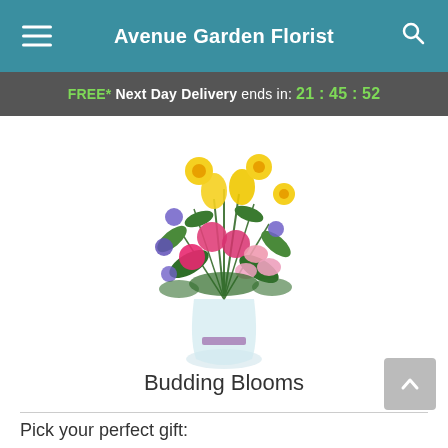Avenue Garden Florist
FREE* Next Day Delivery ends in: 21:45:52
[Figure (photo): A colorful floral bouquet in a glass vase with a purple ribbon, containing yellow tulips, pink carnations, pink alstroemeria, blue/purple asters, and yellow daisies with green foliage.]
Budding Blooms
Pick your perfect gift: